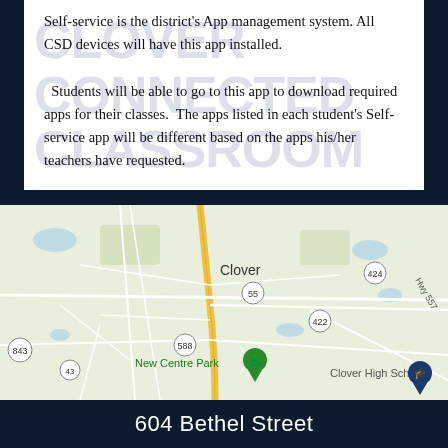Self-service is the district's App management system. All CSD devices will have this app installed. Students will be able to go to this app to download required apps for their classes. The apps listed in each student's Self-service app will be different based on the apps his/her teachers have requested.
[Figure (map): Google Maps screenshot showing Clover, SC area with roads, New Centre Park marker, Clover High School marker, and route numbers 55, 422, 424, 588, 843, 43, Hwy 557]
604 Bethel Street